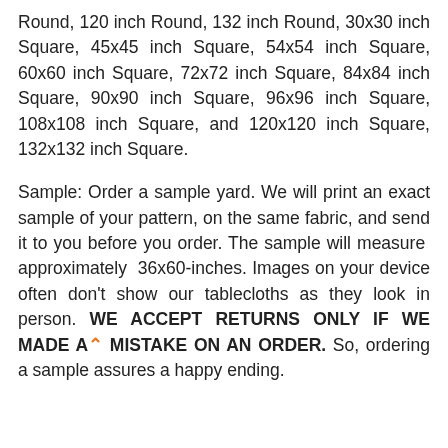Round, 120 inch Round, 132 inch Round, 30x30 inch Square, 45x45 inch Square, 54x54 inch Square, 60x60 inch Square, 72x72 inch Square, 84x84 inch Square, 90x90 inch Square, 96x96 inch Square, 108x108 inch Square, and 120x120 inch Square, 132x132 inch Square.
Sample: Order a sample yard. We will print an exact sample of your pattern, on the same fabric, and send it to you before you order. The sample will measure approximately 36x60-inches. Images on your device often don't show our tablecloths as they look in person. WE ACCEPT RETURNS ONLY IF WE MADE A MISTAKE ON AN ORDER. So, ordering a sample assures a happy ending.